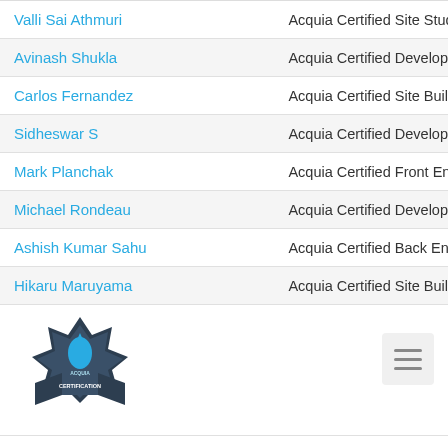| Name | Certification |
| --- | --- |
| Valli Sai Athmuri | Acquia Certified Site Studio C... |
| Avinash Shukla | Acquia Certified Developer -... |
| Carlos Fernandez | Acquia Certified Site Builder |
| Sidheswar S | Acquia Certified Developer -... |
| Mark Planchak | Acquia Certified Front End Sp... |
| Michael Rondeau | Acquia Certified Developer -... |
| Ashish Kumar Sahu | Acquia Certified Back End Sp... |
| Hikaru Maruyama | Acquia Certified Site Builder |
| Mukesh Sah | Acquia Certified Front End Sp... |
| Devashish Jangid | Acquia Certified Site Builder |
[Figure (logo): Acquia Certification badge logo with star/shield shape and water drop, dark blue and light blue colors]